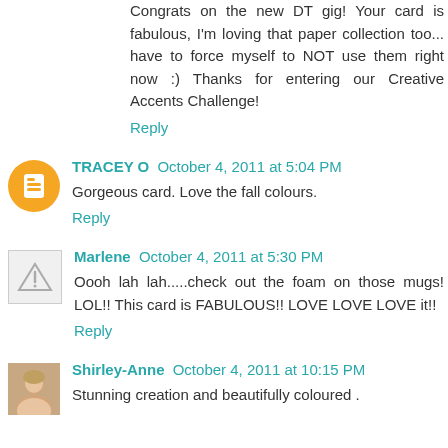Congrats on the new DT gig! Your card is fabulous, I'm loving that paper collection too... have to force myself to NOT use them right now :) Thanks for entering our Creative Accents Challenge!
Reply
TRACEY O October 4, 2011 at 5:04 PM
Gorgeous card. Love the fall colours.
Reply
Marlene October 4, 2011 at 5:30 PM
Oooh lah lah.....check out the foam on those mugs! LOL!! This card is FABULOUS!! LOVE LOVE LOVE it!!
Reply
Shirley-Anne October 4, 2011 at 10:15 PM
Stunning creation and beautifully coloured .